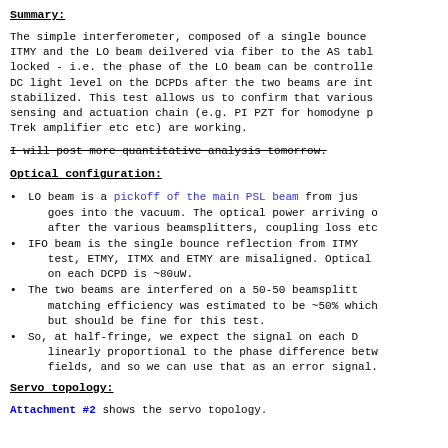Summary:
The simple interferometer, composed of a single bounce ITMY and the LO beam deilvered via fiber to the AS tabl locked - i.e. the phase of the LO beam can be controlle DC light level on the DCPDs after the two beams are int stabilized. This test allows us to confirm that various sensing and actuation chain (e.g. PI PZT for homodyne p Trek amplifier etc etc) are working.
I will post more quantitative analysis tomorrow.
Optical configuration:
LO beam is a pickoff of the main PSL beam from jus goes into the vacuum. The optical power arriving o after the various beamsplitters, coupling loss etc
IFO beam is the single bounce reflection from ITMY test, ETMY, ITMX and ETMY are misaligned. Optical on each DCPD is ~80uW.
The two beams are interfered on a 50-50 beamsplitt matching efficiency was estimated to be ~50% which but should be fine for this test.
So, at half-fringe, we expect the signal on each D linearly proportional to the phase difference betw fields, and so we can use that as an error signal.
Servo topology:
Attachment #2 shows the servo topology.